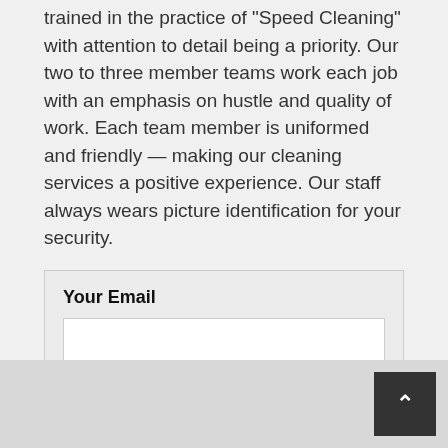trained in the practice of "Speed Cleaning" with attention to detail being a priority. Our two to three member teams work each job with an emphasis on hustle and quality of work. Each team member is uniformed and friendly — making our cleaning services a positive experience. Our staff always wears picture identification for your security.
Your Email
[Figure (screenshot): A web form with a label 'Your Email', an empty text input field, and a 'Contact Us' button.]
[Figure (other): A dark square button with an upward-pointing chevron arrow, positioned in the bottom-right corner of the page footer.]